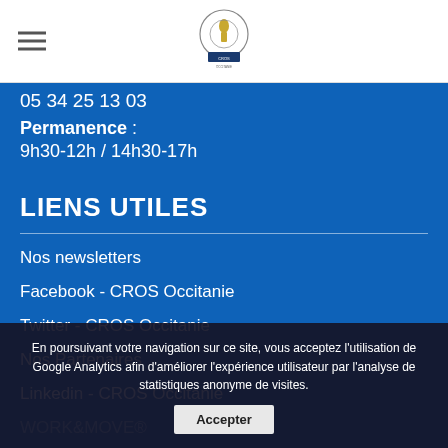[CROS Occitanie logo]
05 34 25 13 03
Permanence :
9h30-12h / 14h30-17h
LIENS UTILES
Nos newsletters
Facebook - CROS Occitanie
Twitter - CROS Occitanie
Nos Partenaires
Linkedin - CROS Occitanie
WORK&MOVE®
Nos actualités
En poursuivant votre navigation sur ce site, vous acceptez l'utilisation de Google Analytics afin d'améliorer l'expérience utilisateur par l'analyse de statistiques anonyme de visites. Accepter